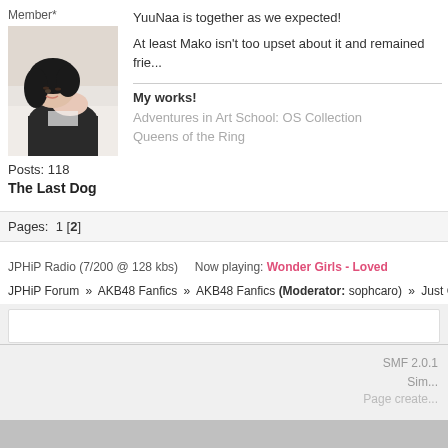Member*
[Figure (photo): Avatar photo of a person with dark hair lying down]
Posts: 118
The Last Dog
YuuNaa is together as we expected!
At least Mako isn't too upset about it and remained frie...
My works!
Adventures in Art School: OS Collection
Queens of the Ring
Pages: 1 [2]
JPHiP Radio (7/200 @ 128 kbs)   Now playing: Wonder Girls - Loved
JPHiP Forum » AKB48 Fanfics » AKB48 Fanfics (Moderator: sophcaro) » Just Choose! -YuuNaa...
SMF 2.0.1
Simp...
Page create...